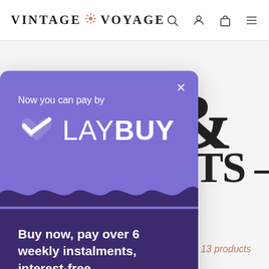VINTAGE VOYAGE
[Figure (screenshot): Laybuy payment modal overlay on e-commerce page. Modal has purple top section with 'Now you can pay by' text and Laybuy logo, wave divider, dark purple bottom section with 'Buy now, pay over 6 weekly instalments, interest-free.' text. Background shows Vintage Voyage website with large ampersand and partial text 'ETS –'.]
Buy now, pay over 6 weekly instalments, interest-free.
Best selling
13 products